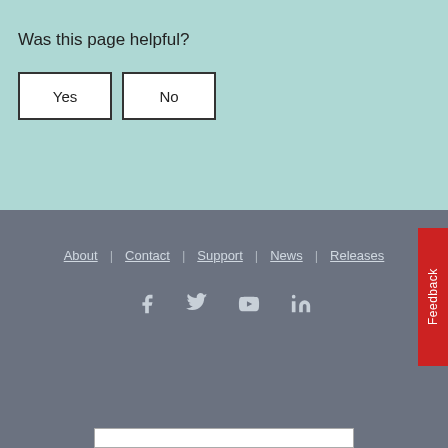Was this page helpful?
Yes
No
About | Contact | Support | News | Releases
[Figure (other): Social media icons: Facebook, Twitter, YouTube, LinkedIn]
Feedback